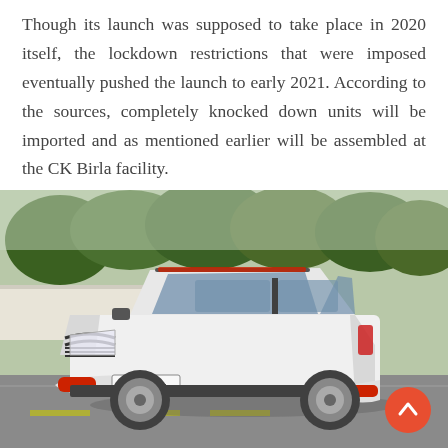Though its launch was supposed to take place in 2020 itself, the lockdown restrictions that were imposed eventually pushed the launch to early 2021. According to the sources, completely knocked down units will be imported and as mentioned earlier will be assembled at the CK Birla facility.
[Figure (photo): A white Citroën C5 Aircross SUV with red accents driving on a road, license plate VM-080-VX, with trees and a wall in the background. An orange scroll-to-top button is visible in the lower right of the image.]